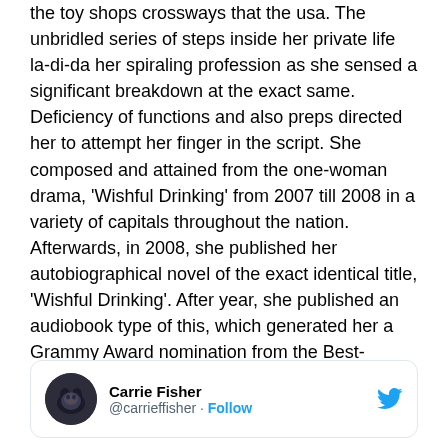the toy shops crossways that the usa. The unbridled series of steps inside her private life la-di-da her spiraling profession as she sensed a significant breakdown at the exact same. Deficiency of functions and also preps directed her to attempt her finger in the script. She composed and attained from the one-woman drama, 'Wishful Drinking' from 2007 till 2008 in a variety of capitals throughout the nation. Afterwards, in 2008, she published her autobiographical novel of the exact identical title, 'Wishful Drinking'. After year, she published an audiobook type of this, which generated her a Grammy Award nomination from the Best-Spoken Word Album course.
[Figure (screenshot): Twitter profile card showing Carrie Fisher (@carrieffisher) with a Follow link and Twitter bird logo]